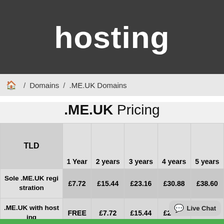hosting
🏠 / Domains / .ME.UK Domains
.ME.UK Pricing
| TLD | 1 Year | 2 years | 3 years | 4 years | 5 years |
| --- | --- | --- | --- | --- | --- |
| Sole .ME.UK registration | £7.72 | £15.44 | £23.16 | £30.88 | £38.60 |
| .ME.UK with hosting | FREE | £7.72 | £15.44 | £23.16 | £30.88 |
💬 Live Chat
Our website will install cookies. By proceeding to browse our website you are agreeing to our use of cookies. Find out more about this here.